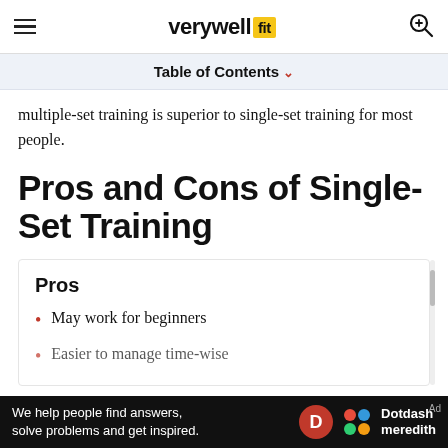verywell fit
Table of Contents
multiple-set training is superior to single-set training for most people.
Pros and Cons of Single-Set Training
Pros
May work for beginners
Easier to manage time-wise